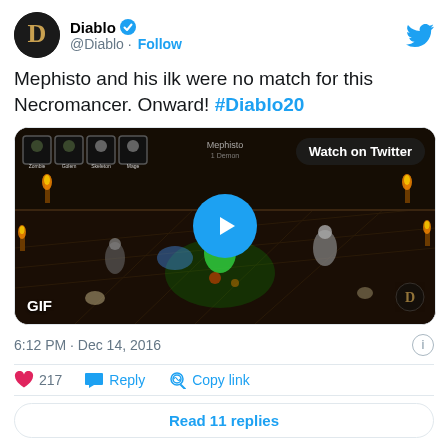Diablo @Diablo · Follow
Mephisto and his ilk were no match for this Necromancer. Onward! #Diablo20
[Figure (screenshot): A GIF from the game Diablo showing a Necromancer character fighting in a dungeon scene. Overlaid with a blue play button and 'Watch on Twitter' badge. HUD icons visible at top left. 'GIF' label at bottom left.]
6:12 PM · Dec 14, 2016
217  Reply  Copy link
Read 11 replies